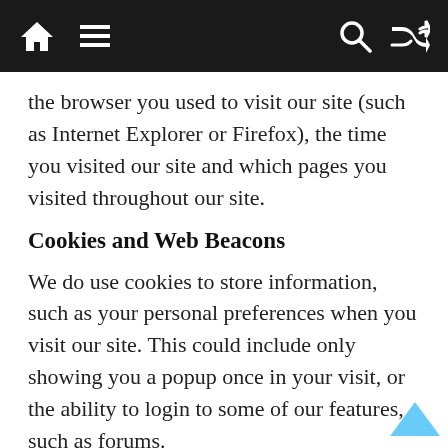Navigation bar with home, menu, search, and shuffle icons
the browser you used to visit our site (such as Internet Explorer or Firefox), the time you visited our site and which pages you visited throughout our site.
Cookies and Web Beacons
We do use cookies to store information, such as your personal preferences when you visit our site. This could include only showing you a popup once in your visit, or the ability to login to some of our features, such as forums.
We also use third party advertisements on infoye.com to support our site. Some of these advertisers may use technology such as cookies and web beacons when they advertise on our site, which will also send these